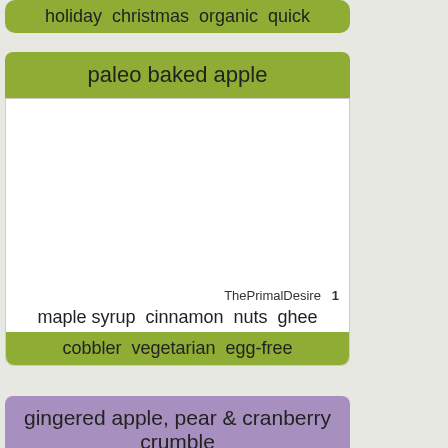holiday  christmas  organic  quick
paleo baked apple
[Figure (photo): White blank area representing a recipe image placeholder]
ThePrimalDesire  1
maple syrup  cinnamon  nuts  ghee
cobbler  vegetarian  egg-free
gingered apple, pear & cranberry crumble